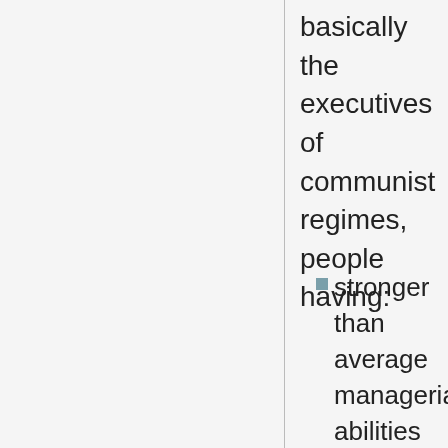basically the executives of communist regimes, people having:
stronger than average managerial abilities
ambition to